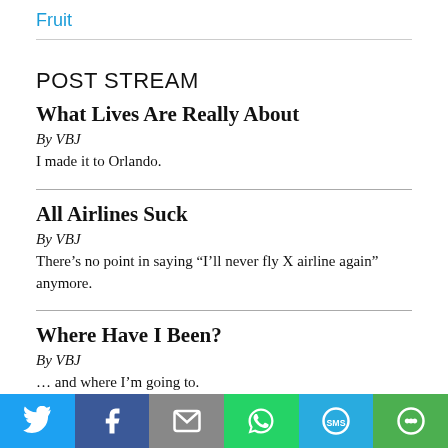Fruit
POST STREAM
What Lives Are Really About
By VBJ
I made it to Orlando.
All Airlines Suck
By VBJ
There’s no point in saying “I’ll never fly X airline again” anymore.
Where Have I Been?
By VBJ
… and where I’m going to.
[Figure (infographic): Social sharing bar with icons for Twitter, Facebook, Email, WhatsApp, SMS, and More]